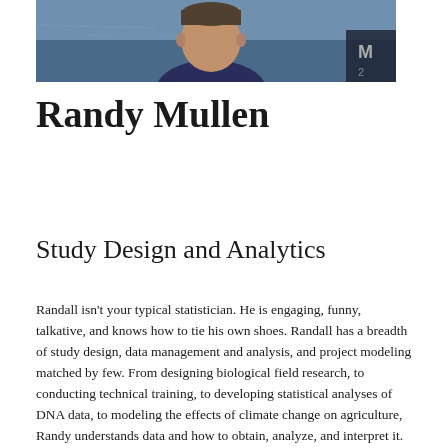[Figure (photo): Headshot photo of Randy Mullen, a man in a dark navy sweater, with water/ocean visible in the background. The image is cropped at the top of the page showing shoulders and head area.]
Randy Mullen
Study Design and Analytics
Randall isn't your typical statistician. He is engaging, funny, talkative, and knows how to tie his own shoes. Randall has a breadth of study design, data management and analysis, and project modeling matched by few. From designing biological field research, to conducting technical training, to developing statistical analyses of DNA data, to modeling the effects of climate change on agriculture, Randy understands data and how to obtain, analyze, and interpret it. And if you need someone to write a program for a sophisticated statistical